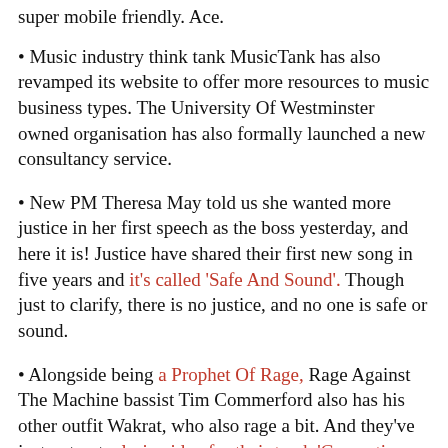super mobile friendly. Ace.
Music industry think tank MusicTank has also revamped its website to offer more resources to music business types. The University Of Westminster owned organisation has also formally launched a new consultancy service.
New PM Theresa May told us she wanted more justice in her first speech as the boss yesterday, and here it is! Justice have shared their first new song in five years and it's called 'Safe And Sound'. Though just to clarify, there is no justice, and no one is safe or sound.
Alongside being a Prophet Of Rage, Rage Against The Machine bassist Tim Commerford also has his other outfit Wakrat, who also rage a bit. And they've just put out a lyric video for their track 'Generation Fucked'. The group's debut album will come out on 8 Nov to